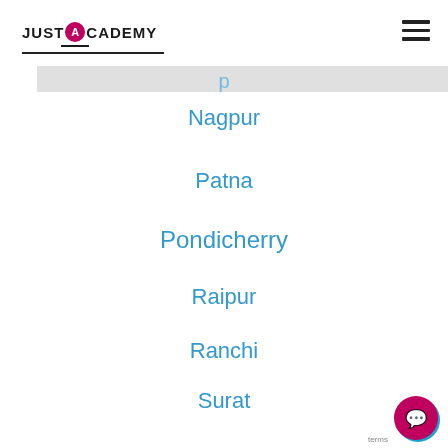JUST ACADEMY
Nagpur
Patna
Pondicherry
Raipur
Ranchi
Surat
Thane
Thiruvananthpuram